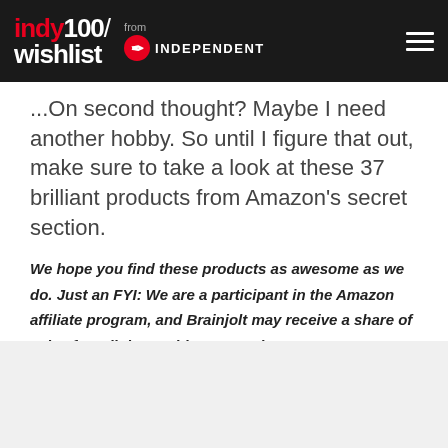indy100/ wishlist — from INDEPENDENT
...On second thought? Maybe I need another hobby. So until I figure that out, make sure to take a look at these 37 brilliant products from Amazon's secret section.
We hope you find these products as awesome as we do. Just an FYI: We are a participant in the Amazon affiliate program, and Brainjolt may receive a share of sales from links on this page. Prices on Amazon fluctuate so anything mentioned below might change as soon we publish it!
[Figure (other): Gray placeholder box at bottom of page]